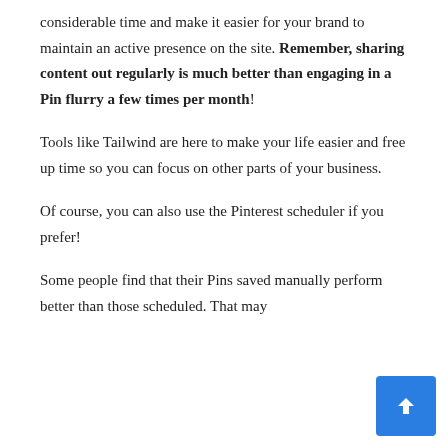considerable time and make it easier for your brand to maintain an active presence on the site. Remember, sharing content out regularly is much better than engaging in a Pin flurry a few times per month!
Tools like Tailwind are here to make your life easier and free up time so you can focus on other parts of your business.
Of course, you can also use the Pinterest scheduler if you prefer!
Some people find that their Pins saved manually perform better than those scheduled. That may